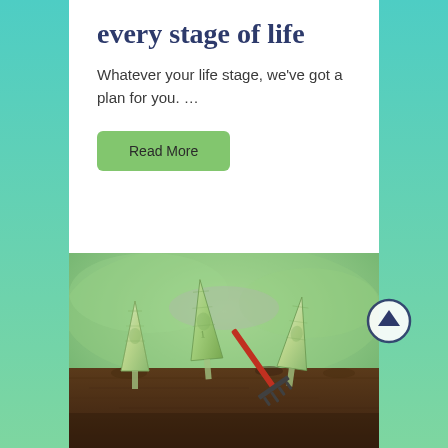every stage of life
Whatever your life stage, we've got a plan for you. …
Read More
[Figure (photo): Dollar bills folded origami-style planted in dark soil like growing plants, with a small garden rake, representing financial growth at every life stage.]